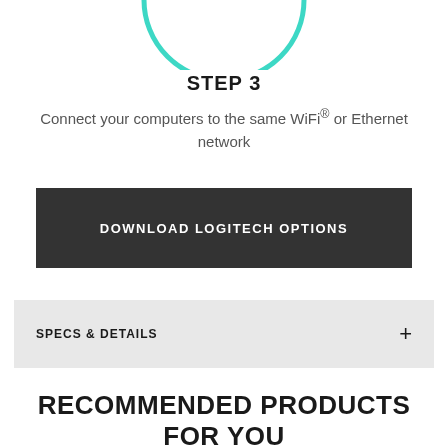[Figure (illustration): Teal/cyan semicircle arc at top of page, bottom half of a circle outline]
STEP 3
Connect your computers to the same WiFi® or Ethernet network
[Figure (other): Dark gray button with white bold text: DOWNLOAD LOGITECH OPTIONS]
SPECS & DETAILS +
RECOMMENDED PRODUCTS FOR YOU